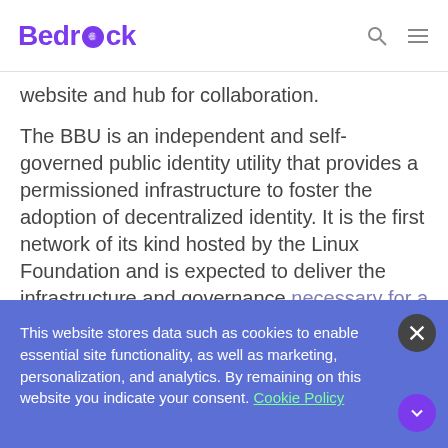Bedrock
website and hub for collaboration.
The BBU is an independent and self-governed public identity utility that provides a permissioned infrastructure to foster the adoption of decentralized identity. It is the first network of its kind hosted by the Linux Foundation and is expected to deliver the infrastructure and governance necessary for a dedicated and trusted public utility based on open and decentralized identity technology.
This website stores data such as cookies to enable essential site functionality, as well as marketing, personalization, and analytics. By remaining on this website you indicate your consent. Cookie Policy